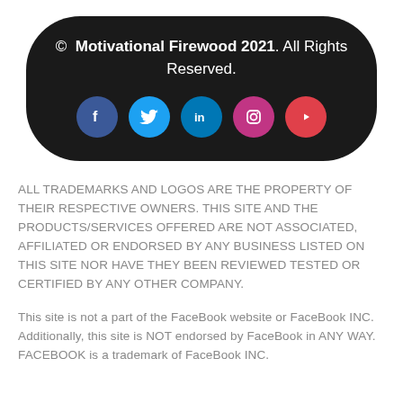[Figure (logo): Black pill-shaped footer banner with copyright text and 5 social media icons (Facebook, Twitter, LinkedIn, Instagram, YouTube)]
ALL TRADEMARKS AND LOGOS ARE THE PROPERTY OF THEIR RESPECTIVE OWNERS. THIS SITE AND THE PRODUCTS/SERVICES OFFERED ARE NOT ASSOCIATED, AFFILIATED OR ENDORSED BY ANY BUSINESS LISTED ON THIS SITE NOR HAVE THEY BEEN REVIEWED TESTED OR CERTIFIED BY ANY OTHER COMPANY.
This site is not a part of the FaceBook website or FaceBook INC. Additionally, this site is NOT endorsed by FaceBook in ANY WAY. FACEBOOK is a trademark of FaceBook INC.